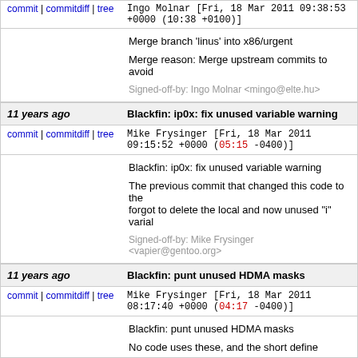commit | commitdiff | tree   Ingo Molnar [Fri, 18 Mar 2011 09:38:53 +0000 (10:38 +0100)]
Merge branch 'linus' into x86/urgent

Merge reason: Merge upstream commits to avoid

Signed-off-by: Ingo Molnar <mingo@elte.hu>
11 years ago   Blackfin: ip0x: fix unused variable warning
commit | commitdiff | tree   Mike Frysinger [Fri, 18 Mar 2011 09:15:52 +0000 (05:15 -0400)]
Blackfin: ip0x: fix unused variable warning

The previous commit that changed this code to the forgot to delete the local and now unused "i" variable.

Signed-off-by: Mike Frysinger <vapier@gentoo.org>
11 years ago   Blackfin: punt unused HDMA masks
commit | commitdiff | tree   Mike Frysinger [Fri, 18 Mar 2011 08:17:40 +0000 (04:17 -0400)]
Blackfin: punt unused HDMA masks

No code uses these, and the short define names a namespace where they collide with things like co